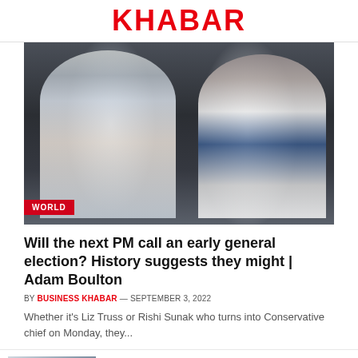KHABAR
[Figure (photo): Two women smiling and greeting each other, one in a blue and white patterned dress with grey hair, another in a white blazer and dark blue top. A 'WORLD' badge overlays the bottom-left corner of the image.]
Will the next PM call an early general election? History suggests they might | Adam Boulton
BY BUSINESS KHABAR — SEPTEMBER 3, 2022
Whether it's Liz Truss or Rishi Sunak who turns into Conservative chief on Monday, they...
Thousands told to flee 3 towns ahead of fast California fire